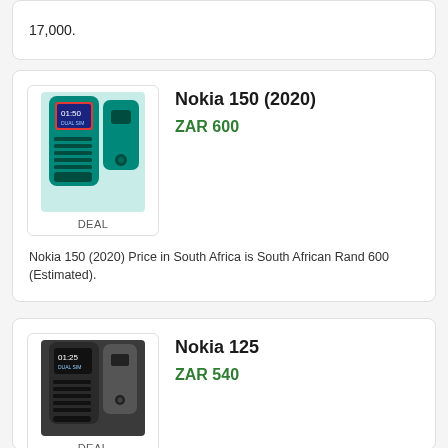17,000.
[Figure (photo): Nokia 150 (2020) teal colored phone shown from front and back]
DEAL
Nokia 150 (2020)
ZAR 600
Nokia 150 (2020) Price in South Africa is South African Rand 600 (Estimated).
[Figure (photo): Nokia 125 dark/black colored phone shown from front and back]
DEAL
Nokia 125
ZAR 540